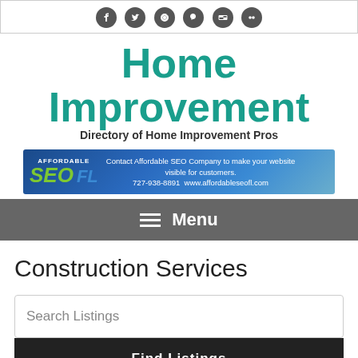[Figure (logo): Social media icons bar: Facebook, Twitter, Pinterest, Tumblr, VK, Flickr]
Home Improvement
Directory of Home Improvement Pros
[Figure (photo): Affordable SEO FL advertisement banner: Contact Affordable SEO Company to make your website visible for customers. 727-938-8891 www.affordableseofl.com]
Menu
Construction Services
Search Listings
Find Listings
Advanced Search